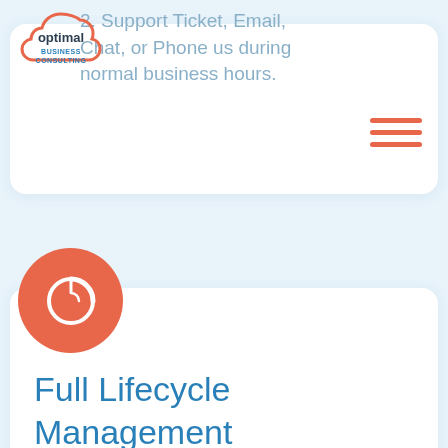[Figure (logo): Optimal Business Consulting logo — cloud shape outline with 'optimal' in dark text and 'BUSINESS CONSULTING' in blue below]
2. Support Ticket, Email, Chat, or Phone us during normal business hours.
[Figure (illustration): Hamburger menu icon — three horizontal salmon/orange lines]
[Figure (illustration): Orange circle with white pie/donut chart icon]
Full Lifecycle Management
Most Pardot implementations only